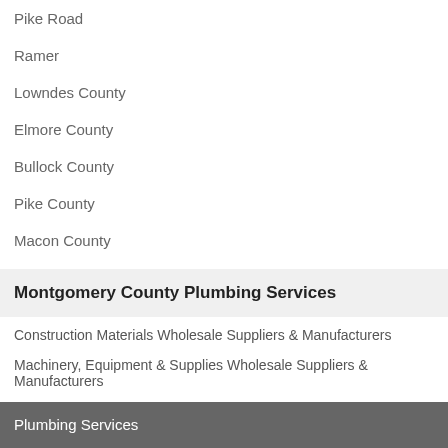Pike Road
Ramer
Lowndes County
Elmore County
Bullock County
Pike County
Macon County
Montgomery County Plumbing Services
Construction Materials Wholesale Suppliers & Manufacturers
Machinery, Equipment & Supplies Wholesale Suppliers & Manufacturers
Plumbing Services